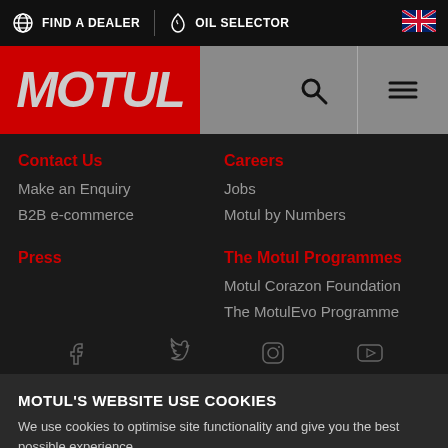FIND A DEALER | OIL SELECTOR
[Figure (logo): Motul logo in italic bold white/grey text on red background]
Contact Us
Make an Enquiry
B2B e-commerce
Careers
Jobs
Motul by Numbers
Press
The Motul Programmes
Motul Corazon Foundation
The MotulEvo Programme
[Figure (illustration): Social media icons: Facebook, Twitter, Instagram, YouTube]
MOTUL'S WEBSITE USE COOKIES
We use cookies to optimise site functionality and give you the best possible experience.
I ACCEPT
SETTINGS